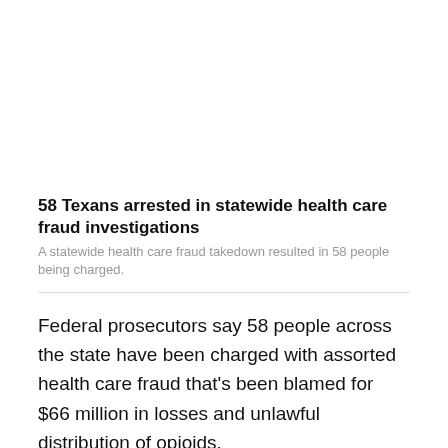58 Texans arrested in statewide health care fraud investigations
A statewide health care fraud takedown resulted in 58 people being charged.
Federal prosecutors say 58 people across the state have been charged with assorted health care fraud that's been blamed for $66 million in losses and unlawful distribution of opioids.
The Justice Department on Wednesday announced that the individual cases include 20 people charged with